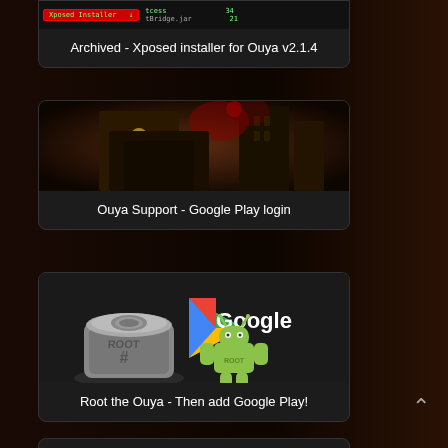[Figure (screenshot): Partial card at top showing Xposed installer screenshot with app list]
Archived - Xposed installer for Ouya v2.1.4
[Figure (screenshot): Card with dark action game screenshot showing urban scene with red effects]
Ouya Support - Google Play login
[Figure (screenshot): Card showing Root the Ouya guide image with robot and Google Play icons]
Root the Ouya - Then add Google Play!